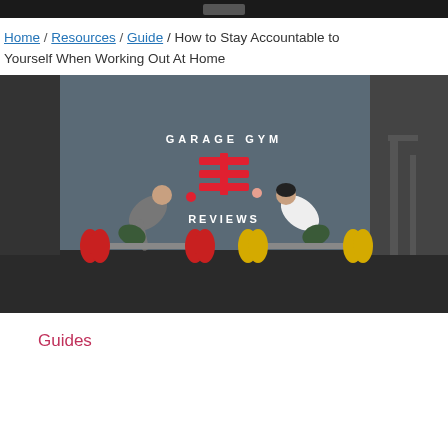Home / Resources / Guide / How to Stay Accountable to Yourself When Working Out At Home
[Figure (photo): Two people performing deadlifts in a gym with a Garage Gym Reviews logo on the wall behind them. One person lifts a barbell with red plates, the other with yellow plates.]
Guides